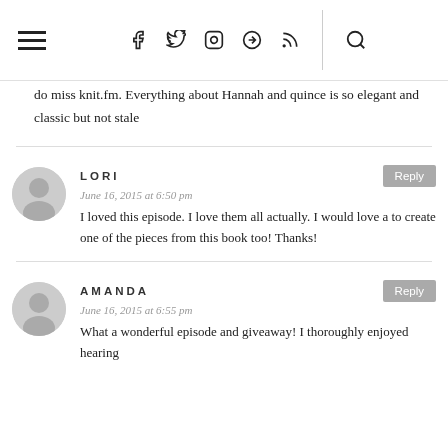Navigation header with menu, social icons, and search
do miss knit.fm. Everything about Hannah and quince is so elegant and classic but not stale
LORI
June 16, 2015 at 6:50 pm
I loved this episode. I love them all actually. I would love a to create one of the pieces from this book too! Thanks!
AMANDA
June 16, 2015 at 6:55 pm
What a wonderful episode and giveaway! I thoroughly enjoyed hearing